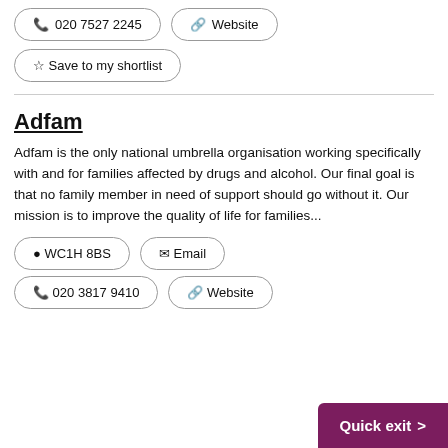📞 020 7527 2245
🔗 Website
☆ Save to my shortlist
Adfam
Adfam is the only national umbrella organisation working specifically with and for families affected by drugs and alcohol. Our final goal is that no family member in need of support should go without it. Our mission is to improve the quality of life for families...
WC1H 8BS
Email
📞 020 3817 9410
🔗 Website